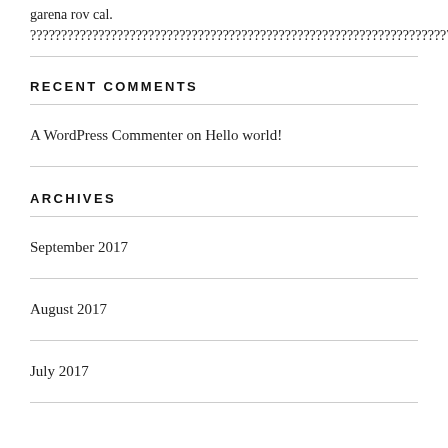garena rov cal. ?????????????????????????????????????????????????????????????????????????????????????????????????
RECENT COMMENTS
A WordPress Commenter on Hello world!
ARCHIVES
September 2017
August 2017
July 2017